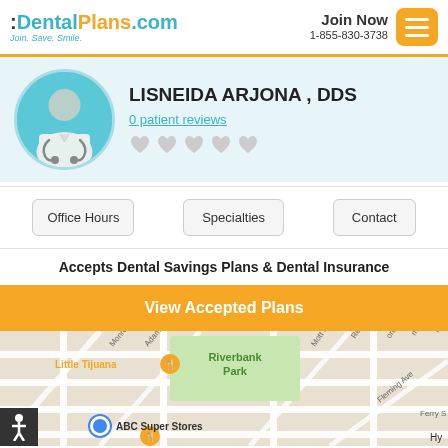:DentalPlans.com Join. Save. Smile. | Join Now 1-855-830-3738
LISNEIDA ARJONA , DDS
0 patient reviews
[Figure (illustration): Doctor avatar icon in circular teal background]
Office Hours | Specialties | Contact
Accepts Dental Savings Plans & Dental Insurance
View Accepted Plans
[Figure (map): Street map showing Little Tijuana, Riverbank Park, ABC Super Stores, Ferry St area]